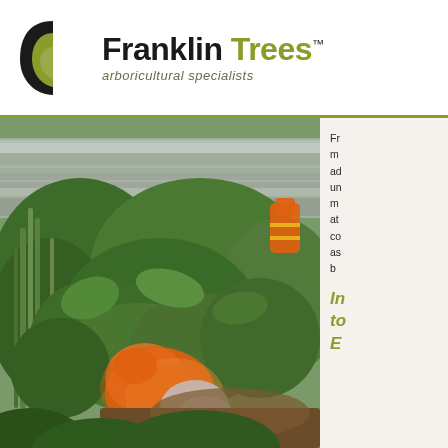[Figure (logo): Franklin Trees logo with a stylized dark leaf/swoosh icon on the left, and the company name 'Franklin Trees' in bold with 'arboricultural specialists' tagline below in italic olive/khaki text]
[Figure (photo): Workers in orange high-visibility clothing trimming vegetation along a railway line. One worker is bent over with a power tool in dense green shrubs, motion blur visible. Another worker in orange is visible in the background near a passing train. Lush green vegetation fills the foreground.]
Fr... m... ad... un... m... at... co... as... b...
In... to... E...